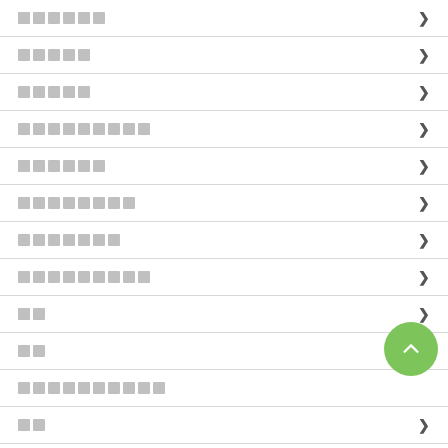██████
█████
█████
█████████
██████
████████
███████
█████████
██
██
██████████
██